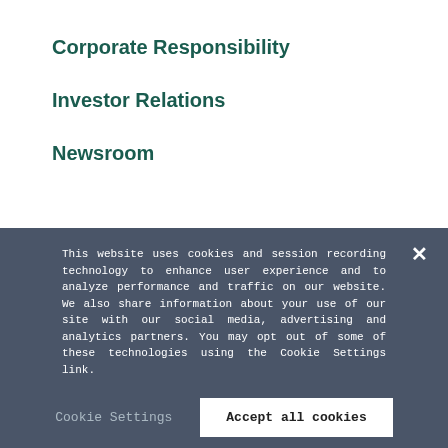Corporate Responsibility
Investor Relations
Newsroom
Contact Us
Global Privacy and Cookie Notice
Terms of Use
Our Response to Schrems II
This website uses cookies and session recording technology to enhance user experience and to analyze performance and traffic on our website. We also share information about your use of our site with our social media, advertising and analytics partners. You may opt out of some of these technologies using the Cookie Settings link.
Cookie Settings
Accept all cookies